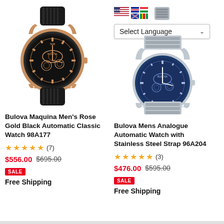[Figure (photo): Bulova Maquina Men's Rose Gold Black Automatic Classic Watch 98A177 product photo - skeleton dial watch with rose gold case and black rubber strap]
[Figure (screenshot): Language selector widget with flags and dropdown showing 'Select Language']
[Figure (photo): Bulova Mens Analogue Automatic Watch with Stainless Steel Strap 96A204 product photo - blue skeleton dial with stainless steel bracelet]
Bulova Maquina Men's Rose Gold Black Automatic Classic Watch 98A177
★★★★★ (7)
$556.00 $695.00
SALE
Free Shipping
Bulova Mens Analogue Automatic Watch with Stainless Steel Strap 96A204
★★★★★ (3)
$476.00 $595.00
SALE
Free Shipping